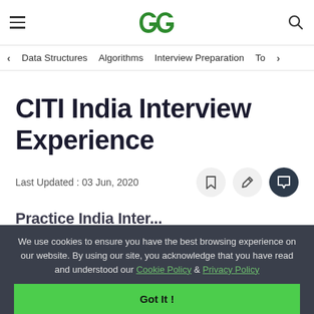GeeksforGeeks — hamburger menu, GFG logo, search icon
< Data Structures   Algorithms   Interview Preparation   To>
CITI India Interview Experience
Last Updated : 03 Jun, 2020
We use cookies to ensure you have the best browsing experience on our website. By using our site, you acknowledge that you have read and understood our Cookie Policy & Privacy Policy
Got It !